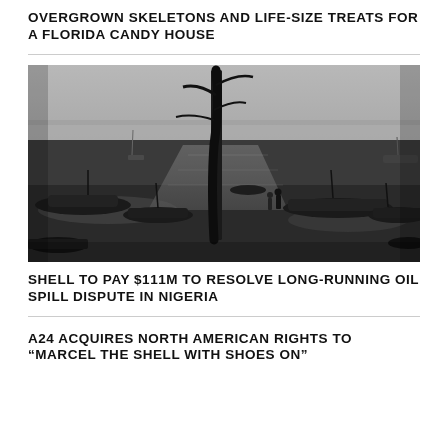OVERGROWN SKELETONS AND LIFE-SIZE TREATS FOR A FLORIDA CANDY HOUSE
[Figure (photo): Black and white photograph of an oil-spill affected landscape in Nigeria, showing dead trees, boats, mudflats, and a person walking near polluted water.]
SHELL TO PAY $111M TO RESOLVE LONG-RUNNING OIL SPILL DISPUTE IN NIGERIA
A24 ACQUIRES NORTH AMERICAN RIGHTS TO “MARCEL THE SHELL WITH SHOES ON”